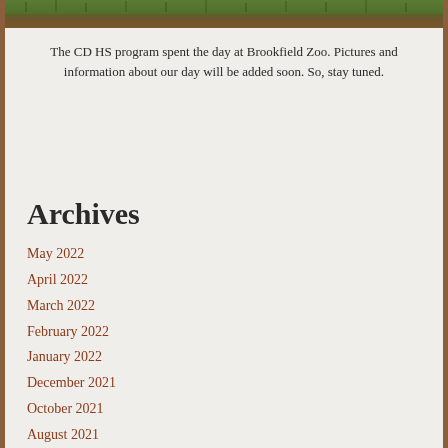[Figure (photo): A top strip of a photo showing green grass and brown dirt ground, appearing to be taken at a zoo]
The CD HS program spent the day at Brookfield Zoo. Pictures and information about our day will be added soon. So, stay tuned.
Archives
May 2022
April 2022
March 2022
February 2022
January 2022
December 2021
October 2021
August 2021